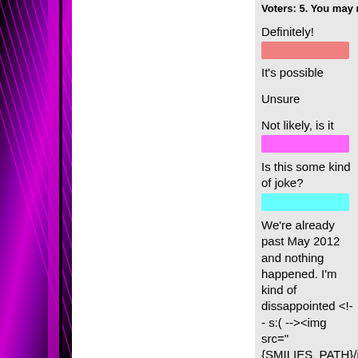Voters: 5. You may not vote on
Definitely!
It's possible
Unsure
Not likely, is it
Is this some kind of joke?
We're already past May 2012 and nothing happened. I'm kind of dissappointed <!-- s:( --><img src="{SMILIES_PATH}/icon_e_sad.gif" alt=":( " title="Sad" /><!-- s:( -->